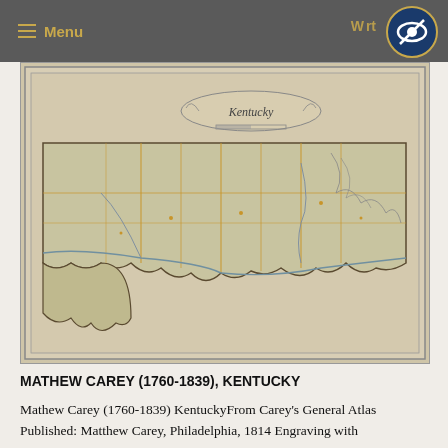≡ Menu
[Figure (map): Historical map of Kentucky by Mathew Carey (1760-1839), engraving with hand coloring showing the state of Kentucky with county divisions, rivers, and decorative cartouche title reading 'Kentucky'. Published 1814.]
MATHEW CAREY (1760-1839), KENTUCKY
Mathew Carey (1760-1839) KentuckyFrom Carey's General Atlas Published: Matthew Carey, Philadelphia, 1814 Engraving with